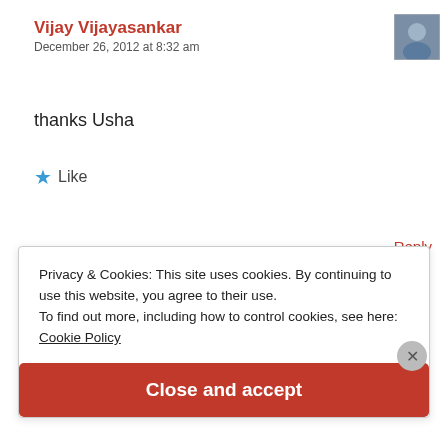Vijay Vijayasankar
December 26, 2012 at 8:32 am
thanks Usha
★ Like
Reply
Privacy & Cookies: This site uses cookies. By continuing to use this website, you agree to their use.
To find out more, including how to control cookies, see here:
Cookie Policy
Close and accept